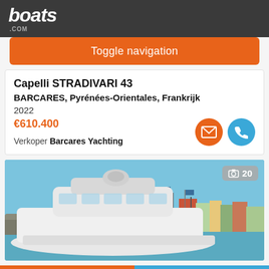boats.com
Toggle navigation
Capelli STRADIVARI 43
BARCARES, Pyrénées-Orientales, Frankrijk
2022
€610.400
Verkoper Barcares Yachting
[Figure (photo): White luxury motor yacht moored in a marina with colorful buildings and flags in the background under a clear blue sky. Photo counter badge shows 20 photos.]
Sorteren bij | Zoekopdracht filteren